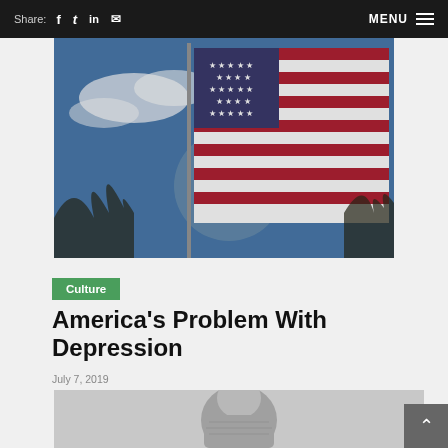Share: f  t  in  ✉    MENU ☰
[Figure (photo): American flag waving against a blue sky with sun flare and bare tree branches visible]
Culture
America's Problem With Depression
July 7, 2019
[Figure (photo): Black and white photo of a person, partially visible at bottom of page]